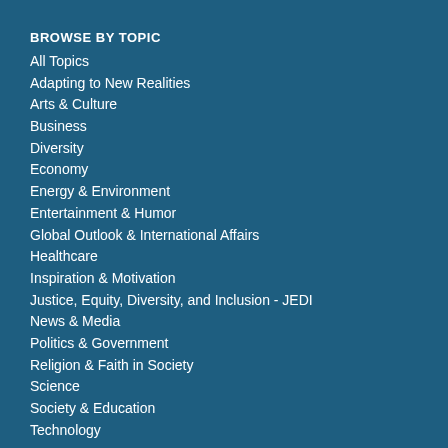BROWSE BY TOPIC
All Topics
Adapting to New Realities
Arts & Culture
Business
Diversity
Economy
Energy & Environment
Entertainment & Humor
Global Outlook & International Affairs
Healthcare
Inspiration & Motivation
Justice, Equity, Diversity, and Inclusion - JEDI
News & Media
Politics & Government
Religion & Faith in Society
Science
Society & Education
Technology
HYBRID & VIRTUAL EVENTS